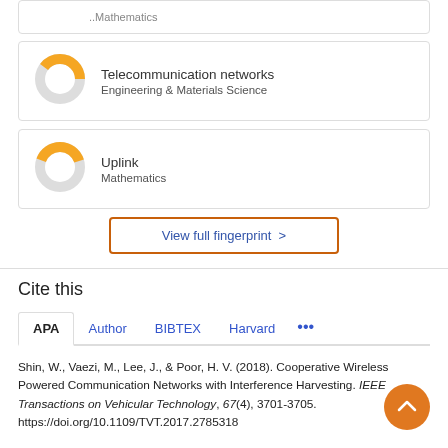[Figure (donut-chart): Donut chart showing partial fill (orange ~40%) for Telecommunication networks]
Telecommunication networks
Engineering & Materials Science
[Figure (donut-chart): Donut chart showing partial fill (orange ~35%) for Uplink]
Uplink
Mathematics
View full fingerprint >
Cite this
APA  Author  BIBTEX  Harvard  ...
Shin, W., Vaezi, M., Lee, J., & Poor, H. V. (2018). Cooperative Wireless Powered Communication Networks with Interference Harvesting. IEEE Transactions on Vehicular Technology, 67(4), 3701-3705. https://doi.org/10.1109/TVT.2017.2785318